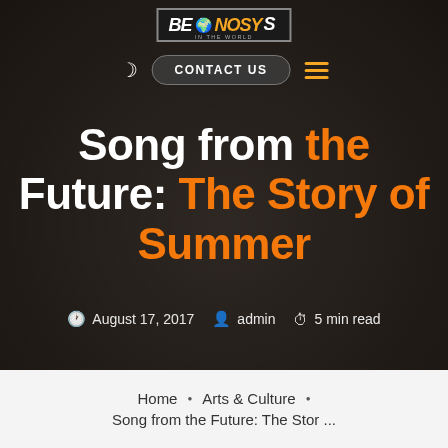[Figure (screenshot): Hero section of a blog website called 'Be Nosy In The World' showing a dark overlay photo of people with arms outstretched, with navigation bar including moon icon, CONTACT US button, and hamburger menu icon]
Song from the Future: The Story of Summer
August 17, 2017  admin  5 min read
Home · Arts & Culture · Song from the Future: The Stor ...